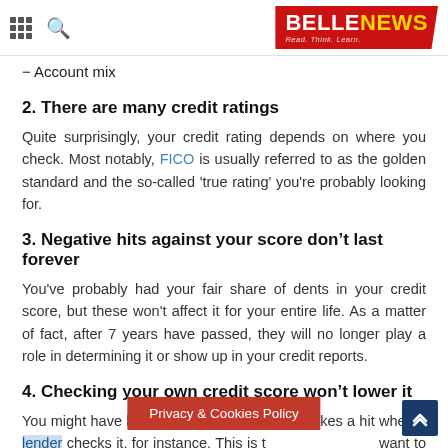BELLENEWS — Read. Think. Learn.
– Account mix
2. There are many credit ratings
Quite surprisingly, your credit rating depends on where you check. Most notably, FICO is usually referred to as the golden standard and the so-called 'true rating' you're probably looking for.
3. Negative hits against your score don’t last forever
You've probably had your fair share of dents in your credit score, but these won't affect it for your entire life. As a matter of fact, after 7 years have passed, they will no longer play a role in determining it or show up in your credit reports.
4. Checking your own credit score won’t lower it
You might have heard that your credit score takes a hit when a lender checks it, for instance. This is t... want to know